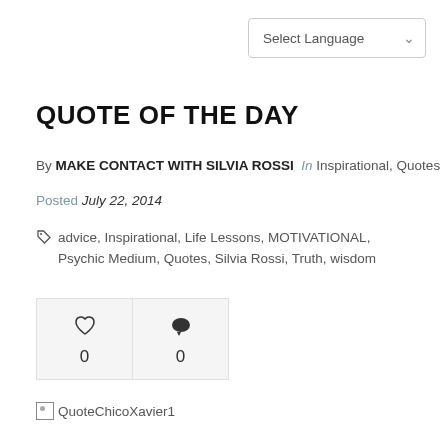Select Language
QUOTE OF THE DAY
By MAKE CONTACT WITH SILVIA ROSSI  In Inspirational, Quotes
Posted July 22, 2014
advice, Inspirational, Life Lessons, MOTIVATIONAL, Psychic Medium, Quotes, Silvia Rossi, Truth, wisdom
[Figure (infographic): Like count (heart icon with 0) and comment count (speech bubble icon with 0)]
[Figure (photo): Broken image placeholder labeled QuoteChicoXavier1]